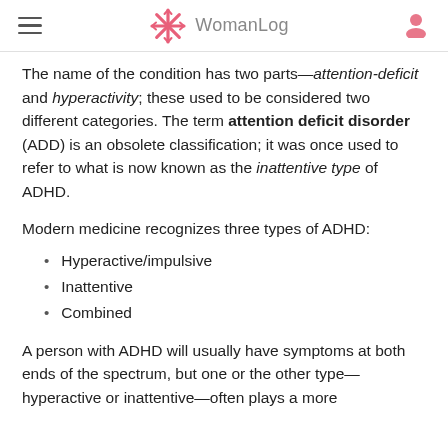WomanLog
The name of the condition has two parts—attention-deficit and hyperactivity; these used to be considered two different categories. The term attention deficit disorder (ADD) is an obsolete classification; it was once used to refer to what is now known as the inattentive type of ADHD.
Modern medicine recognizes three types of ADHD:
Hyperactive/impulsive
Inattentive
Combined
A person with ADHD will usually have symptoms at both ends of the spectrum, but one or the other type—hyperactive or inattentive—often plays a more